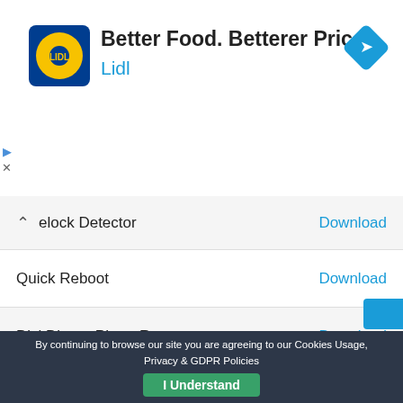[Figure (infographic): Lidl advertisement banner with yellow circle logo, headline 'Better Food. Betterer Prices.' and blue navigation icon]
elock Detector — Download
Quick Reboot — Download
DiskDigger Photo Recovery — Download
Dumpster — Download
LiveBoot — Download
Flashify — Download
BetterBatteryStats — Download
By continuing to browse our site you are agreeing to our Cookies Usage, Privacy & GDPR Policies   I Understand